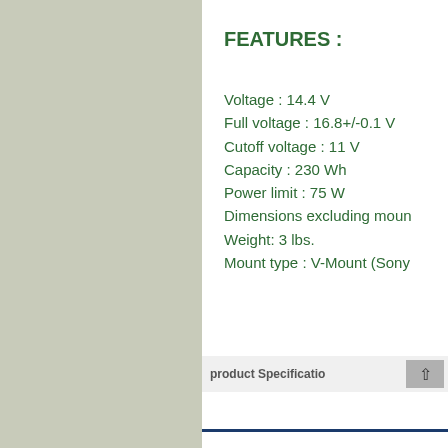[Figure (photo): Left panel showing a light grayish-green textured background, possibly a product image or decorative panel.]
FEATURES :
Voltage : 14.4 V
Full voltage : 16.8+/-0.1 V
Cutoff voltage : 11 V
Capacity : 230 Wh
Power limit : 75 W
Dimensions excluding moun
Weight: 3 lbs.
Mount type : V-Mount (Sony
product Specificatio